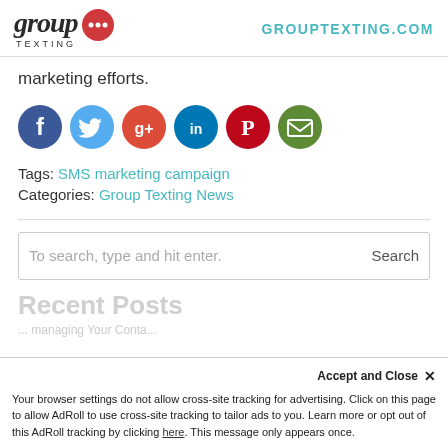[Figure (logo): Group Texting logo with red speech bubble and dots, plus 'GROUPTEXTING.COM' in teal on the right]
marketing efforts.
[Figure (infographic): Row of 6 social media share icons: Facebook (blue), Twitter (light blue), Google+ (red), LinkedIn (dark blue), Pinterest (red), Email (green)]
Tags: SMS marketing campaign
Categories: Group Texting News
To search, type and hit enter.
Search
Recent Posts
Accept and Close ×
Your browser settings do not allow cross-site tracking for advertising. Click on this page to allow AdRoll to use cross-site tracking to tailor ads to you. Learn more or opt out of this AdRoll tracking by clicking here. This message only appears once.